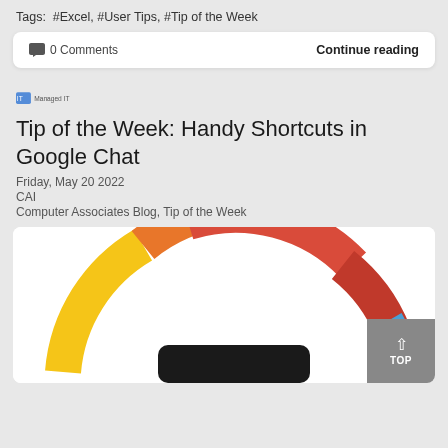Tags: #Excel, #User Tips, #Tip of the Week
💬 0 Comments    Continue reading
[Figure (logo): Managed IT logo with small icon]
Tip of the Week: Handy Shortcuts in Google Chat
Friday, May 20 2022
CAI
Computer Associates Blog, Tip of the Week
[Figure (illustration): Colorful semicircular arc graphic in red, orange, yellow, blue segments with a dark rounded rectangle at the bottom center, partially cropped]